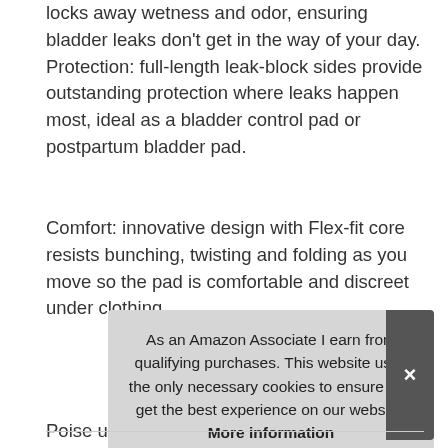locks away wetness and odor, ensuring bladder leaks don't get in the way of your day. Protection: full-length leak-block sides provide outstanding protection where leaks happen most, ideal as a bladder control pad or postpartum bladder pad.
Comfort: innovative design with Flex-fit core resists bunching, twisting and folding as you move so the pad is comfortable and discreet under clothing.
More information #ad
Poise ultra thin maximum incontinence pads for Women are expertly designed for bladder leakage, and are 50% thinner* & 5X** more absorbent. 108 pads 3 packs of 36. fsa-eligible in the box, Pac
As an Amazon Associate I earn from qualifying purchases. This website uses the only necessary cookies to ensure you get the best experience on our website. More information